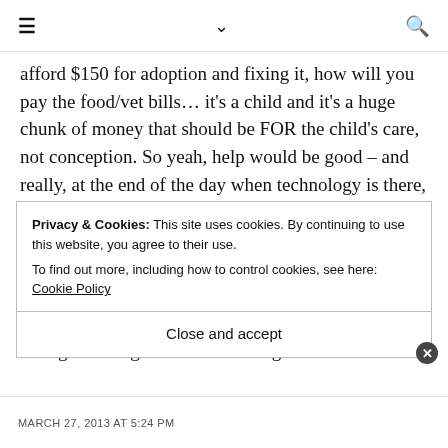≡  ∨  🔍
afford $150 for adoption and fixing it, how will you pay the food/vet bills… it's a child and it's a huge chunk of money that should be FOR the child's care, not conception. So yeah, help would be good – and really, at the end of the day when technology is there, it's proven, is it so expensive anyway. It seems wrong for someone to profit so much from helping to create life as well. if it was less expensive, more could do it, you know? same end of day profit. hmm didn't know i could rant so much about it. Apparently I've stronger feelings here than I thought.
Privacy & Cookies: This site uses cookies. By continuing to use this website, you agree to their use.
To find out more, including how to control cookies, see here: Cookie Policy
Close and accept
MARCH 27, 2013 AT 5:24 PM